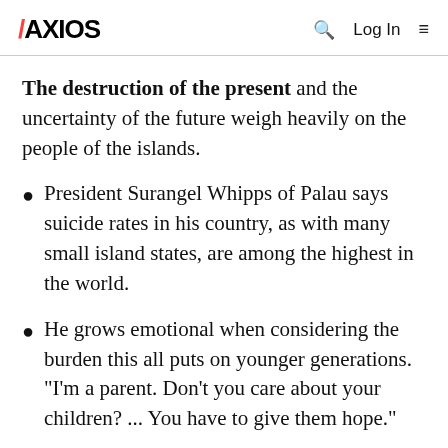AXIOS  Q  Log In  ≡
The destruction of the present and the uncertainty of the future weigh heavily on the people of the islands.
President Surangel Whipps of Palau says suicide rates in his country, as with many small island states, are among the highest in the world.
He grows emotional when considering the burden this all puts on younger generations. "I'm a parent. Don't you care about your children? ... You have to give them hope."
Asked how you explain to a child that without